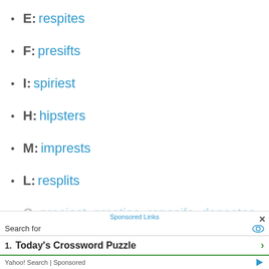E: respites
F: presifts
I: spiriest
H: hipsters
M: imprests
L: resplits
O: prosiest prosties reposife depostes triposes
N: S...
Sponsored Links
Search for
1. Today's Crossword Puzzle
Yahoo! Search | Sponsored